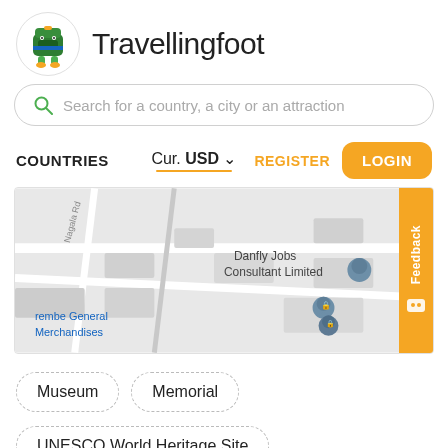Travellingfoot
Search for a country, a city or an attraction
COUNTRIES   Cur. USD ▾   REGISTER   LOGIN
[Figure (map): Street map showing Danfly Jobs Consultant Limited and rembe General Merchandises locations, with Hoima Rd and Nagala Rd visible. Feedback tab on right side.]
Museum
Memorial
UNESCO World Heritage Site